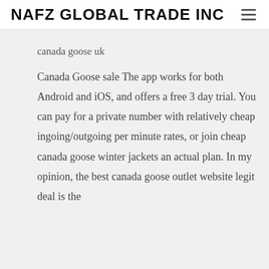NAFZ GLOBAL TRADE INC
canada goose uk
Canada Goose sale The app works for both Android and iOS, and offers a free 3 day trial. You can pay for a private number with relatively cheap ingoing/outgoing per minute rates, or join cheap canada goose winter jackets an actual plan. In my opinion, the best canada goose outlet website legit deal is the